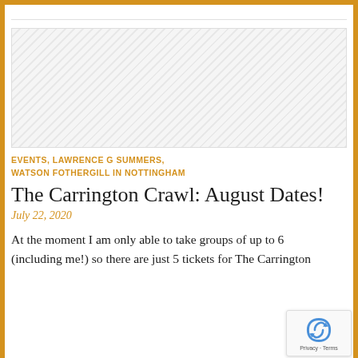[Figure (other): Placeholder image with diagonal hatching pattern, representing an article header image]
EVENTS, LAWRENCE G SUMMERS, WATSON FOTHERGILL IN NOTTINGHAM
The Carrington Crawl: August Dates!
July 22, 2020
At the moment I am only able to take groups of up to 6 (including me!) so there are just 5 tickets for The Carrington